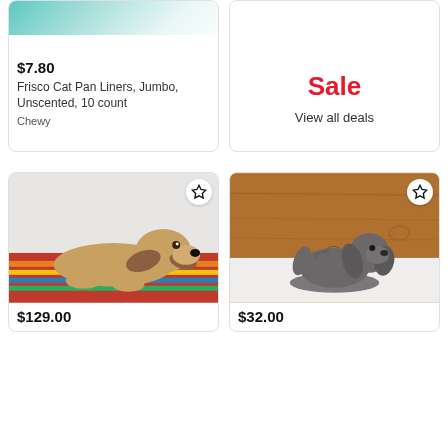[Figure (photo): Partial product image top - cat pan liners box, cropped]
[Figure (photo): Right card top - empty white area, sale promotion card]
$7.80
Frisco Cat Pan Liners, Jumbo, Unscented, 10 count
Chewy
Sale
View all deals
[Figure (photo): Basset hound puppy lying on colorful striped blanket]
[Figure (photo): Gray/dark cast iron or stone dog figurine on white surface]
$129.00
$32.00